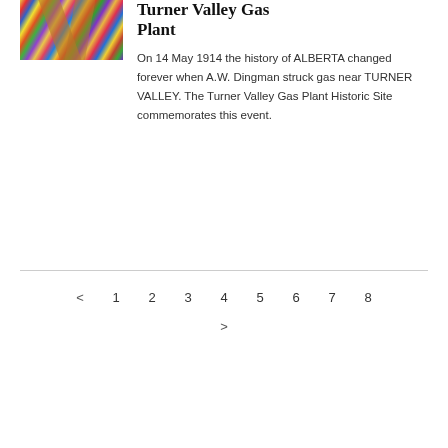[Figure (photo): Colorful striped woven textile or pencils with geometric patterns, seen from above]
Turner Valley Gas Plant
On 14 May 1914 the history of ALBERTA changed forever when A.W. Dingman struck gas near TURNER VALLEY. The Turner Valley Gas Plant Historic Site commemorates this event.
< 1 2 3 4 5 6 7 8 >